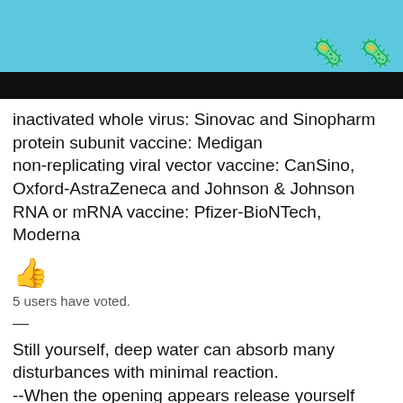[Figure (photo): Top portion showing light blue background with reddish virus/bacteria emoji icons and a black bar below]
inactivated whole virus: Sinovac and Sinopharm
protein subunit vaccine: Medigan
non-replicating viral vector vaccine: CanSino, Oxford-AstraZeneca and Johnson & Johnson
RNA or mRNA vaccine: Pfizer-BioNTech, Moderna
👍
5 users have voted.
—
Still yourself, deep water can absorb many disturbances with minimal reaction.
--When the opening appears release yourself
Log in or register to post comments